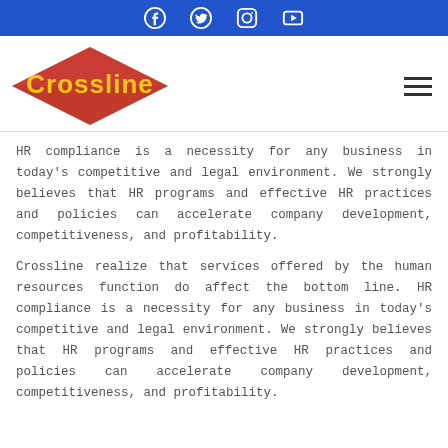Facebook Twitter Instagram YouTube
[Figure (logo): Crossline logo: red diamond shape with yellow text 'Crossline' inside]
HR compliance is a necessity for any business in today's competitive and legal environment. We strongly believes that HR programs and effective HR practices and policies can accelerate company development, competitiveness, and profitability.
Crossline realize that services offered by the human resources function do affect the bottom line. HR compliance is a necessity for any business in today's competitive and legal environment. We strongly believes that HR programs and effective HR practices and policies can accelerate company development, competitiveness, and profitability.